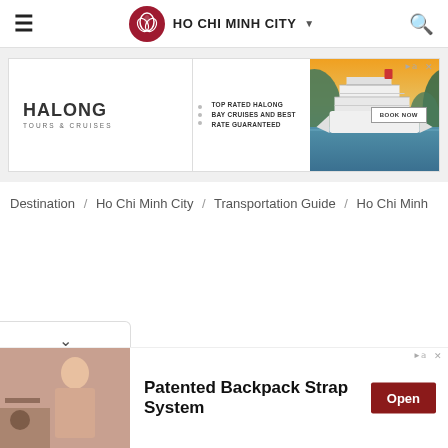HO CHI MINH CITY
[Figure (other): Advertisement banner for Halong Tours & Cruises showing a cruise ship on Ha Long Bay with text 'TOP RATED HALONG BAY CRUISES AND BEST RATE GUARANTEED' and a 'BOOK NOW' button]
Destination / Ho Chi Minh City / Transportation Guide / Ho Chi Minh
[Figure (other): Advertisement for Patented Backpack Strap System showing a woman in a cafe, with Open button]